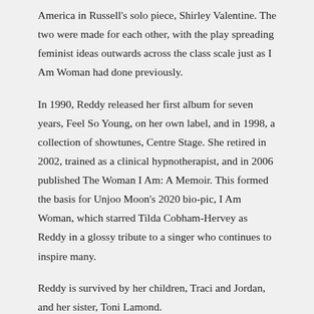America in Russell's solo piece, Shirley Valentine. The two were made for each other, with the play spreading feminist ideas outwards across the class scale just as I Am Woman had done previously.
In 1990, Reddy released her first album for seven years, Feel So Young, on her own label, and in 1998, a collection of showtunes, Centre Stage. She retired in 2002, trained as a clinical hypnotherapist, and in 2006 published The Woman I Am: A Memoir. This formed the basis for Unjoo Moon's 2020 bio-pic, I Am Woman, which starred Tilda Cobham-Hervey as Reddy in a glossy tribute to a singer who continues to inspire many.
Reddy is survived by her children, Traci and Jordan, and her sister, Toni Lamond.
The Herald, October 23rd 2020